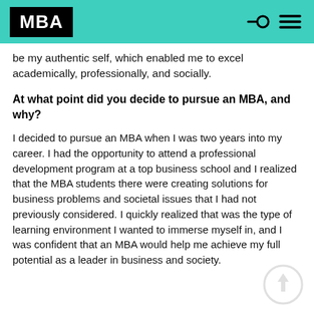MBA
be my authentic self, which enabled me to excel academically, professionally, and socially.
At what point did you decide to pursue an MBA, and why?
I decided to pursue an MBA when I was two years into my career. I had the opportunity to attend a professional development program at a top business school and I realized that the MBA students there were creating solutions for business problems and societal issues that I had not previously considered. I quickly realized that was the type of learning environment I wanted to immerse myself in, and I was confident that an MBA would help me achieve my full potential as a leader in business and society.